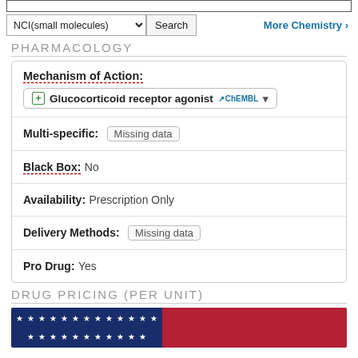[Figure (screenshot): Search bar top area with NCI(small molecules) dropdown and Search button, More Chemistry link]
PHARMACOLOGY
| Mechanism of Action: | Glucocorticoid receptor agonist (ChEMBL) |
| Multi-specific: | Missing data |
| Black Box: | No |
| Availability: | Prescription Only |
| Delivery Methods: | Missing data |
| Pro Drug: | Yes |
DRUG PRICING (PER UNIT)
[Figure (photo): US flag partial image at bottom of page]